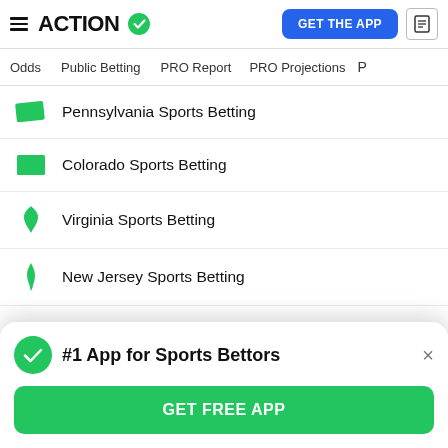ACTION (logo with checkmark) | GET THE APP | news icon
Odds
Public Betting
PRO Report
PRO Projections
Pennsylvania Sports Betting
Colorado Sports Betting
Virginia Sports Betting
New Jersey Sports Betting
Michigan Sports Betting
#1 App for Sports Bettors
GET FREE APP